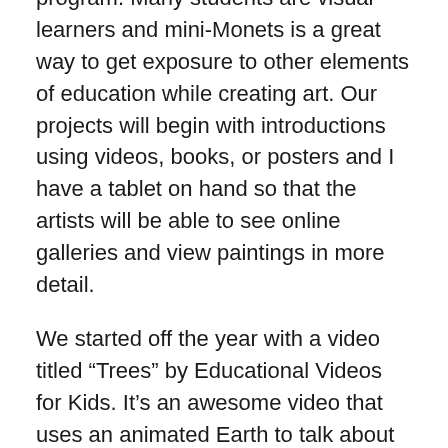program. Many students are visual learners and mini-Monets is a great way to get exposure to other elements of education while creating art. Our projects will begin with introductions using videos, books, or posters and I have a tablet on hand so that the artists will be able to see online galleries and view paintings in more detail.
We started off the year with a video titled “Trees” by Educational Videos for Kids. It’s an awesome video that uses an animated Earth to talk about why trees are so important, from their roots holding ground together, photosynthesis with carbon dioxide and oxygen, to how trees help filter the air and control the climate. Then, we pulled out a dry erase board and started talking about the 3 main types of lines, Straight (a line that continues to move only in one direction), Curve (a wondering, circling line), and Zig Zag (the line who stops on a point and then